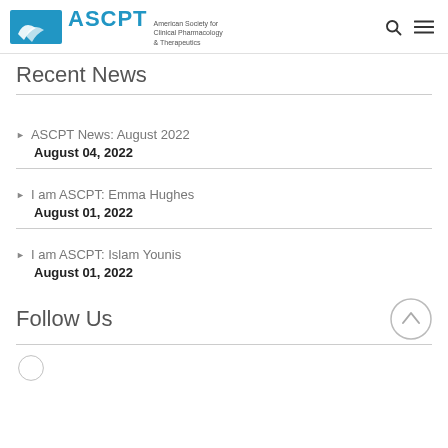ASCPT — American Society for Clinical Pharmacology & Therapeutics
Recent News
ASCPT News: August 2022 — August 04, 2022
I am ASCPT: Emma Hughes — August 01, 2022
I am ASCPT: Islam Younis — August 01, 2022
Follow Us